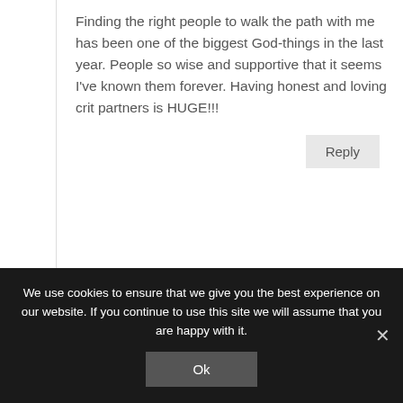Finding the right people to walk the path with me has been one of the biggest God-things in the last year. People so wise and supportive that it seems I've known them forever. Having honest and loving crit partners is HUGE!!!
Reply
Becky Doughty
We use cookies to ensure that we give you the best experience on our website. If you continue to use this site we will assume that you are happy with it.
Ok